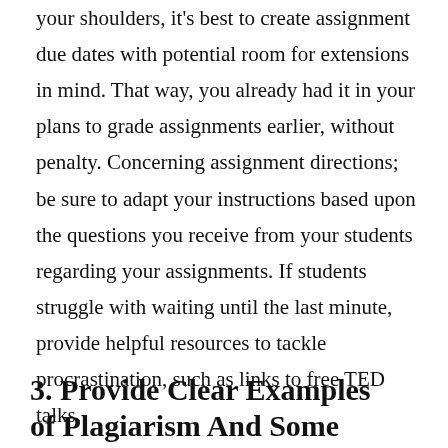your shoulders, it's best to create assignment due dates with potential room for extensions in mind. That way, you already had it in your plans to grade assignments earlier, without penalty. Concerning assignment directions; be sure to adapt your instructions based upon the questions you receive from your students regarding your assignments. If students struggle with waiting until the last minute, provide helpful resources to tackle procrastination, such as links to free TED talks.
3. Provide Clear Examples of Plagiarism And Some